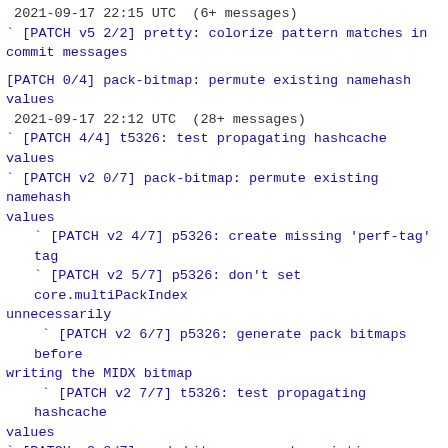2021-09-17 22:15 UTC  (6+ messages)
` [PATCH v5 2/2] pretty: colorize pattern matches in commit messages
[PATCH 0/4] pack-bitmap: permute existing namehash values
 2021-09-17 22:12 UTC  (28+ messages)
` [PATCH 4/4] t5326: test propagating hashcache values
` [PATCH v2 0/7] pack-bitmap: permute existing namehash values
  ` [PATCH v2 4/7] p5326: create missing 'perf-tag' tag
  ` [PATCH v2 5/7] p5326: don't set core.multiPackIndex unnecessarily
   ` [PATCH v2 6/7] p5326: generate pack bitmaps before writing the MIDX bitmap
   ` [PATCH v2 7/7] t5326: test propagating hashcache values
` [PATCH v3 0/7] pack-bitmap: permute existing namehash values
   ` [PATCH v3 1/7] t/helper/test-bitmap.c: add 'dump-hashes' mode
   ` [PATCH v3 2/7] pack-bitmap.c: propagate namehash values from existing bitmaps
  ` [PATCH v3 3/7] midx.c: respect 'pack.writeBitmapHashcache' when writing bitmaps
  ` [PATCH v3 4/7] p5326: create missing 'perf-tag' tag
  ` [PATCH v3 5/7] p5326: don't set core.multiPackIndex unnecessarily
   ` [PATCH v3 6/7] p5326: generate pack bitmaps before writing the MIDX bitmap